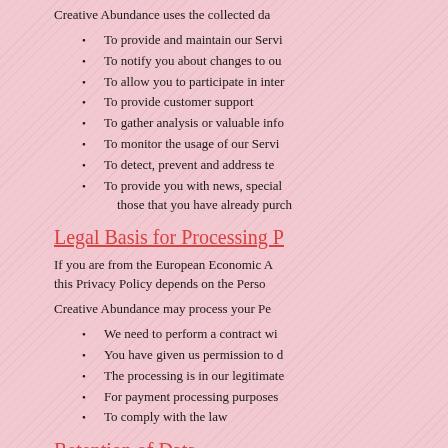Creative Abundance uses the collected da
To provide and maintain our Servi
To notify you about changes to ou
To allow you to participate in inter
To provide customer support
To gather analysis or valuable info
To monitor the usage of our Servi
To detect, prevent and address te
To provide you with news, special offers and general information about other goods, services and events which we offer that are similar to those that you have already purch
Legal Basis for Processing P
If you are from the European Economic A this Privacy Policy depends on the Perso
Creative Abundance may process your Pe
We need to perform a contract wi
You have given us permission to d
The processing is in our legitimate
For payment processing purposes
To comply with the law
Retention of Data